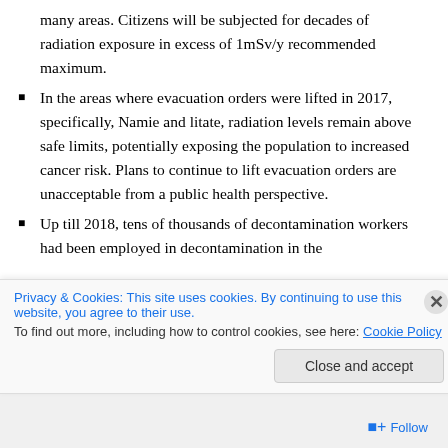many areas. Citizens will be subjected for decades of radiation exposure in excess of 1mSv/y recommended maximum.
In the areas where evacuation orders were lifted in 2017, specifically, Namie and litate, radiation levels remain above safe limits, potentially exposing the population to increased cancer risk. Plans to continue to lift evacuation orders are unacceptable from a public health perspective.
Up till 2018, tens of thousands of decontamination workers had been employed in decontamination in the
Privacy & Cookies: This site uses cookies. By continuing to use this website, you agree to their use. To find out more, including how to control cookies, see here: Cookie Policy